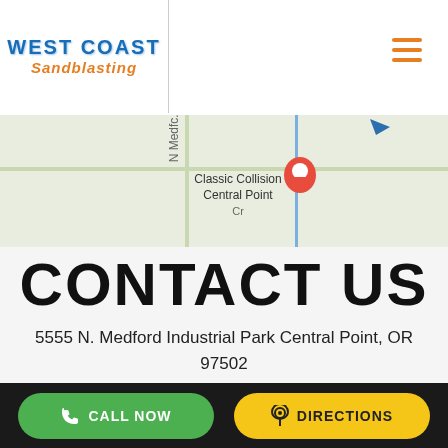[Figure (logo): West Coast Sandblasting logo with blue stylized text and orange 'Sandblasting' subtitle]
[Figure (map): Google Maps snippet showing N Medford area with Classic Collision Central Point label and location pin]
CONTACT US
5555 N. Medford Industrial Park Central Point, OR 97502
Monday - Friday, 8:00 am – 5:00 pm
Phone  (541) 944-9544
FIND US
[Figure (infographic): Bottom bar with green CALL NOW button and yellow DIRECTIONS button on dark background]